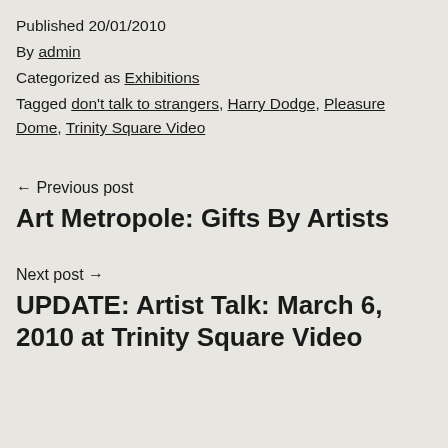Published 20/01/2010
By admin
Categorized as Exhibitions
Tagged don't talk to strangers, Harry Dodge, Pleasure Dome, Trinity Square Video
← Previous post
Art Metropole: Gifts By Artists
Next post →
UPDATE: Artist Talk: March 6, 2010 at Trinity Square Video